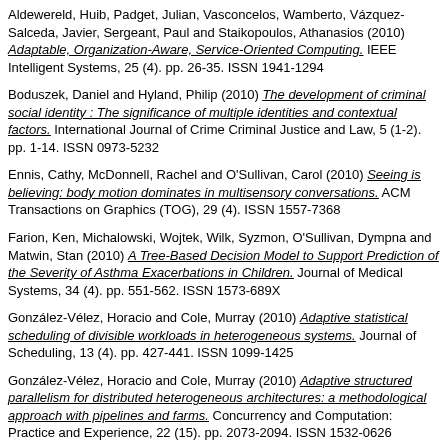Aldewereld, Huib, Padget, Julian, Vasconcelos, Wamberto, Vázquez-Salceda, Javier, Sergeant, Paul and Staikopoulos, Athanasios (2010) Adaptable, Organization-Aware, Service-Oriented Computing. IEEE Intelligent Systems, 25 (4). pp. 26-35. ISSN 1941-1294
Boduszek, Daniel and Hyland, Philip (2010) The development of criminal social identity : The significance of multiple identities and contextual factors. International Journal of Crime Criminal Justice and Law, 5 (1-2). pp. 1-14. ISSN 0973-5232
Ennis, Cathy, McDonnell, Rachel and O'Sullivan, Carol (2010) Seeing is believing: body motion dominates in multisensory conversations. ACM Transactions on Graphics (TOG), 29 (4). ISSN 1557-7368
Farion, Ken, Michalowski, Wojtek, Wilk, Syzmon, O'Sullivan, Dympna and Matwin, Stan (2010) A Tree-Based Decision Model to Support Prediction of the Severity of Asthma Exacerbations in Children. Journal of Medical Systems, 34 (4). pp. 551-562. ISSN 1573-689X
González-Vélez, Horacio and Cole, Murray (2010) Adaptive statistical scheduling of divisible workloads in heterogeneous systems. Journal of Scheduling, 13 (4). pp. 427-441. ISSN 1099-1425
González-Vélez, Horacio and Cole, Murray (2010) Adaptive structured parallelism for distributed heterogeneous architectures: a methodological approach with pipelines and farms. Concurrency and Computation: Practice and Experience, 22 (15). pp. 2073-2094. ISSN 1532-0626
González-Vélez, Horacio and Leyton, Mario (2010) A survey of algorithmic skeleton frameworks: high-level structured parallel programming enablers.